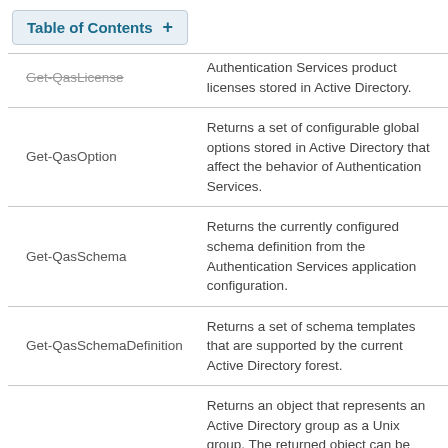Table of Contents +
| Command | Description |
| --- | --- |
| Get-QasLicense | Authentication Services product licenses stored in Active Directory. |
| Get-QasOption | Returns a set of configurable global options stored in Active Directory that affect the behavior of Authentication Services. |
| Get-QasSchema | Returns the currently configured schema definition from the Authentication Services application configuration. |
| Get-QasSchemaDefinition | Returns a set of schema templates that are supported by the current Active Directory forest. |
| Get-QasUnixGroup | Returns an object that represents an Active Directory group as a Unix group. The returned object can be piped into other cmdlets such as Clear-QasUnixGroup or Enable-QasUnixGroup. |